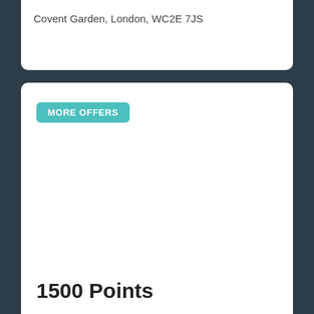Covent Garden, London, WC2E 7JS
MORE OFFERS
1500 Points
For all diners to this restaurant, spending over £40.
Offer expires 30 Sep 22.